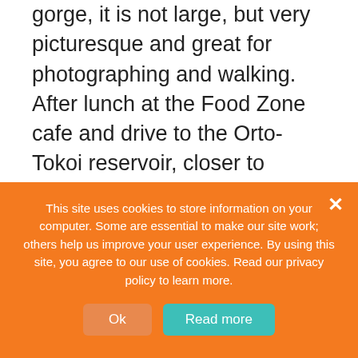gorge, it is not large, but very picturesque and great for photographing and walking. After lunch at the Food Zone cafe and drive to the Orto-Tokoi reservoir, closer to sunset we visit the Ak-Sai canyons (the canyons also have a different name, we called the Forgotten Rivers Canyon with the famous photographer from Holland Albert Dros) we meet the sunset on the shore of Lake Issyk-
This site uses cookies to store information on your computer. Some are essential to make our site work; others help us improve your user experience. By using this site, you agree to our use of cookies. Read our privacy policy to learn more.